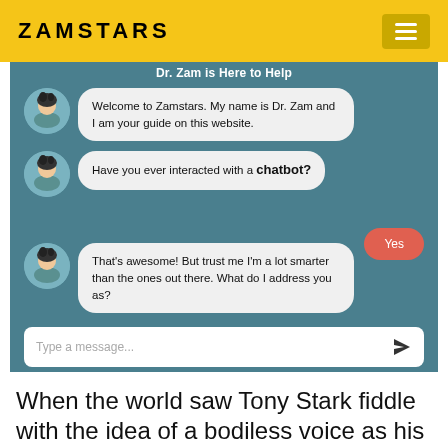ZAMSTARS
[Figure (screenshot): A chatbot interface screenshot showing Dr. Zam chatbot on the Zamstars website. Three bot messages are shown with an avatar, and a user reply bubble saying 'Yes'. An input bar at the bottom reads 'Type a message...']
When the world saw Tony Stark fiddle with the idea of a bodiless voice as his lab